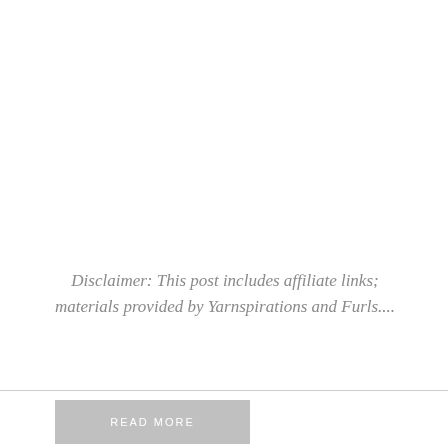Disclaimer: This post includes affiliate links; materials provided by Yarnspirations and Furls....
READ MORE